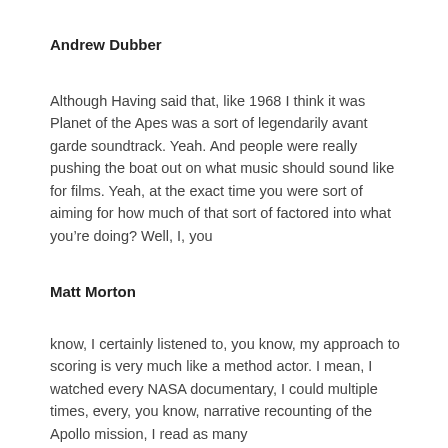Andrew Dubber
Although Having said that, like 1968 I think it was Planet of the Apes was a sort of legendarily avant garde soundtrack. Yeah. And people were really pushing the boat out on what music should sound like for films. Yeah, at the exact time you were sort of aiming for how much of that sort of factored into what you’re doing? Well, I, you
Matt Morton
know, I certainly listened to, you know, my approach to scoring is very much like a method actor. I mean, I watched every NASA documentary, I could multiple times, every, you know, narrative recounting of the Apollo mission, I read as many